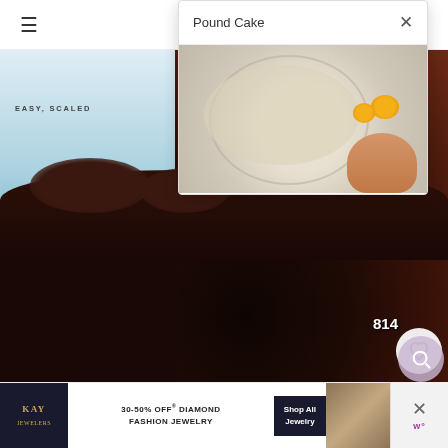SWE[E...]
Pound Cake
[Figure (photo): Hand pouring eggs into a mixing bowl with batter, viewed from above on a marble surface]
[Figure (photo): Close-up of a dark chocolate cake with chocolate frosting and a partially visible book cover reading EASY, SCALED on the left side. Heart/like button showing 814 likes.]
free ebook
our favourite small
[Figure (screenshot): KAY Jewelers advertisement: 30-50% OFF* DIAMOND FASHION JEWELRY - Shop All Jewelry]